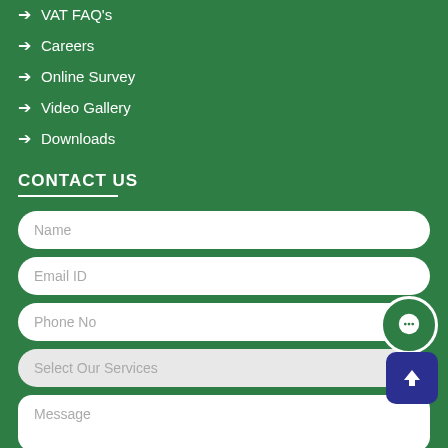➔ VAT FAQ's
➔ Careers
➔ Online Survey
➔ Video Gallery
➔ Downloads
CONTACT US
Name
Email ID
Phone No
Select Our Services
Message